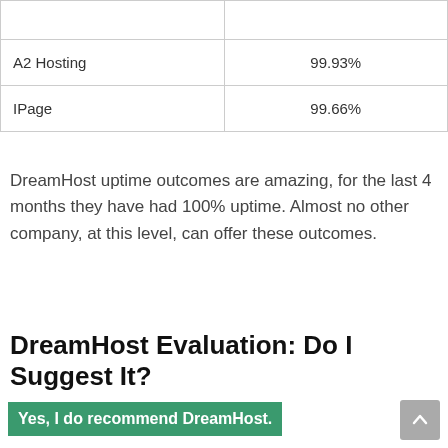|  |  |
| A2 Hosting | 99.93% |
| IPage | 99.66% |
DreamHost uptime outcomes are amazing, for the last 4 months they have had 100% uptime. Almost no other company, at this level, can offer these outcomes.
DreamHost Evaluation: Do I Suggest It?
Yes, I do recommend DreamHost.